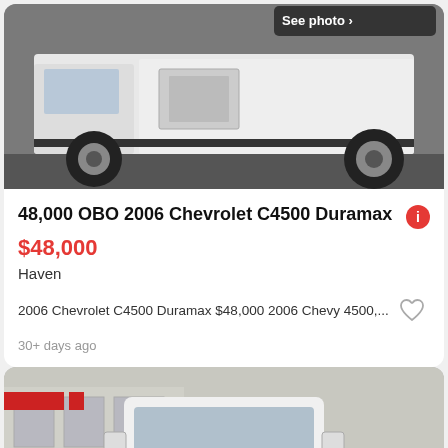[Figure (photo): White Chevrolet C4500 Duramax truck side view photo with 'See photo' button overlay in top right]
48,000 OBO 2006 Chevrolet C4500 Duramax
$48,000
Haven
2006 Chevrolet C4500 Duramax $48,000 2006 Chevy 4500,...
30+ days ago
[Figure (photo): White Chevrolet Express van front view photo with 'See photo' button overlay]